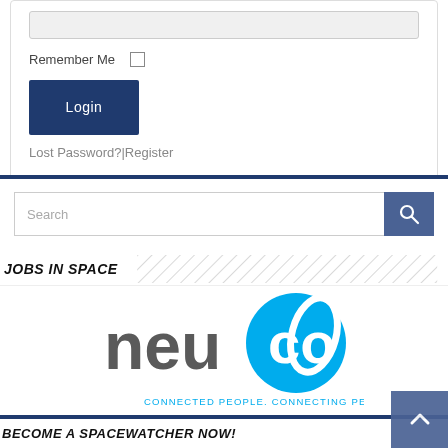[Figure (screenshot): Login form with a text input field, Remember Me checkbox, Login button, and Lost Password/Register links]
[Figure (screenshot): Search bar with search icon button]
JOBS IN SPACE
[Figure (logo): neuCO logo — grey 'neu' text and cyan circle with 'co' letters, tagline CONNECTED PEOPLE. CONNECTING PEOPLE.]
BECOME A SPACEWATCHER NOW!